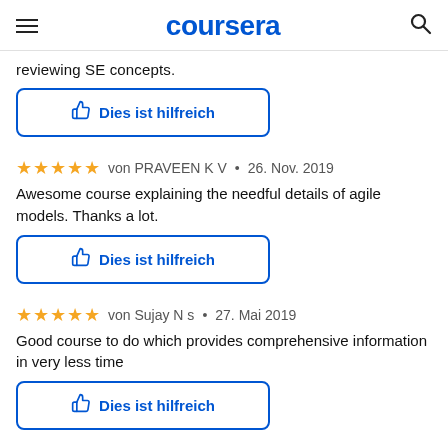coursera
reviewing SE concepts.
Dies ist hilfreich
von PRAVEEN K V • 26. Nov. 2019
Awesome course explaining the needful details of agile models. Thanks a lot.
Dies ist hilfreich
von Sujay N s • 27. Mai 2019
Good course to do which provides comprehensive information in very less time
Dies ist hilfreich